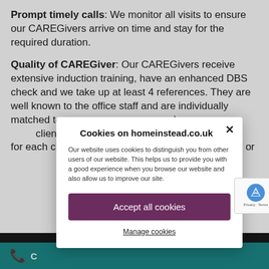Prompt timely calls: We monitor all visits to ensure our CAREGivers arrive on time and stay for the required duration.
Quality of CAREGiver: Our CAREGivers receive extensive induction training, have an enhanced DBS check and we take up at least 4 references. They are well known to the office staff and are individually matched to c... and persona... client. This m... flourish in o... for each clie... test, too! "W... my Mum or...
[Figure (screenshot): Cookie consent dialog overlay on homeinstead.co.uk website. Title: 'Cookies on homeinstead.co.uk'. Text: 'Our website uses cookies to distinguish you from other users of our website. This helps us to provide you with a good experience when you browse our website and also allow us to improve our site.' Buttons: 'Accept all cookies' (purple) and 'Manage cookies' (underlined link). Close X button. Partially visible reCAPTCHA badge.]
C...